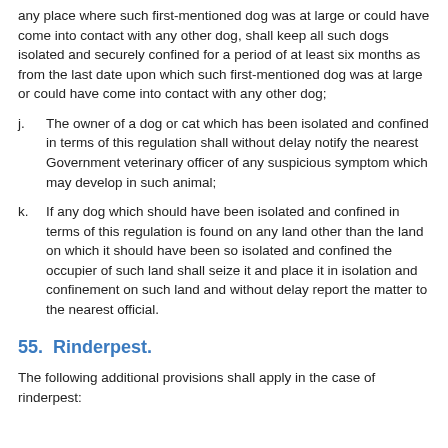any place where such first-mentioned dog was at large or could have come into contact with any other dog, shall keep all such dogs isolated and securely confined for a period of at least six months as from the last date upon which such first-mentioned dog was at large or could have come into contact with any other dog;
j. The owner of a dog or cat which has been isolated and confined in terms of this regulation shall without delay notify the nearest Government veterinary officer of any suspicious symptom which may develop in such animal;
k. If any dog which should have been isolated and confined in terms of this regulation is found on any land other than the land on which it should have been so isolated and confined the occupier of such land shall seize it and place it in isolation and confinement on such land and without delay report the matter to the nearest official.
55.  Rinderpest.
The following additional provisions shall apply in the case of rinderpest: